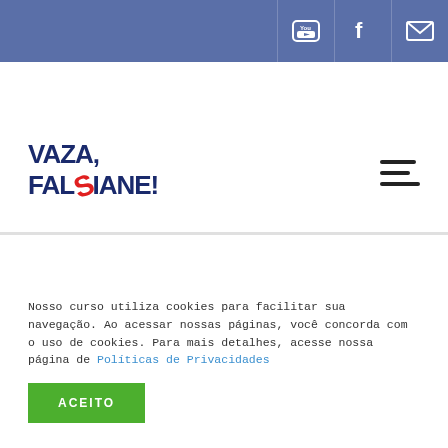[Figure (logo): VAZA FALSIANE! logo in dark blue bold text with red stylized S]
[Figure (infographic): Hamburger menu icon (three horizontal lines)]
[Figure (infographic): Top blue navigation bar with YouTube, Facebook, and email icons]
PUC-SP
Nosso curso utiliza cookies para facilitar sua navegação. Ao acessar nossas páginas, você concorda com o uso de cookies. Para mais detalhes, acesse nossa página de Políticas de Privacidades
ACEITO